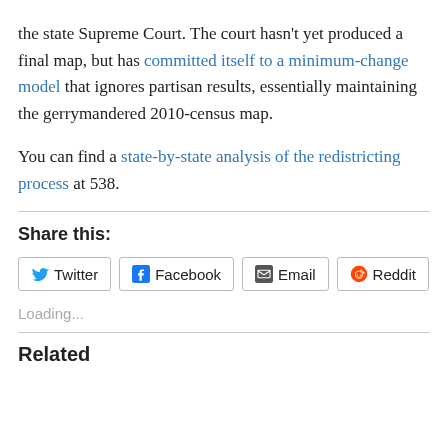the state Supreme Court. The court hasn't yet produced a final map, but has committed itself to a minimum-change model that ignores partisan results, essentially maintaining the gerrymandered 2010-census map.

You can find a state-by-state analysis of the redistricting process at 538.
Share this:
Loading...
Related